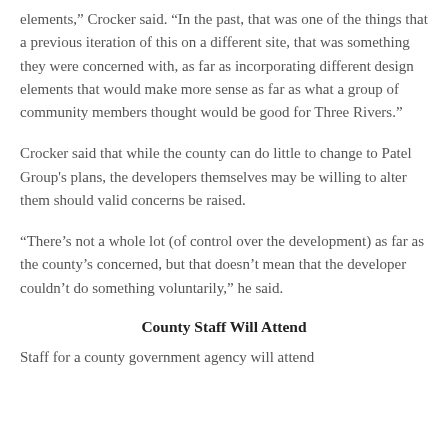elements," Crocker said. “In the past, that was one of the things that a previous iteration of this on a different site, that was something they were concerned with, as far as incorporating different design elements that would make more sense as far as what a group of community members thought would be good for Three Rivers.”
Crocker said that while the county can do little to change to Patel Group's plans, the developers themselves may be willing to alter them should valid concerns be raised.
“There’s not a whole lot (of control over the development) as far as the county’s concerned, but that doesn’t mean that the developer couldn’t do something voluntarily,” he said.
County Staff Will Attend
Staff for a county government agency will attend